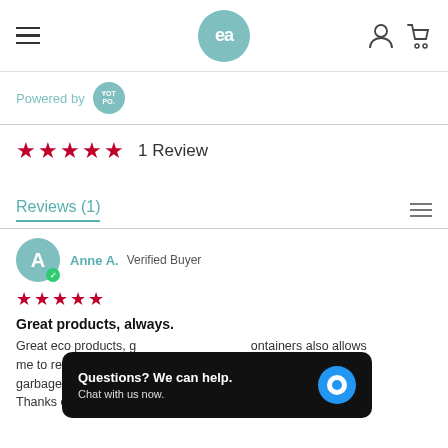[Figure (screenshot): Website header with hamburger menu, 'ea' logo circle in teal, user account icon and cart icon]
Powered by YOT PO.
★★★★★  1 Review
Reviews (1)
Anne A.  Verified Buyer
★★★★★
Great products, always.
Great eco products, g... ontainers also allows me to reuse container... anet's overwhelming garbage problem.
Thanks eco & amour! Love your store!
[Figure (screenshot): Chat widget: 'Questions? We can help. Chat with us now.' with blue chat button]